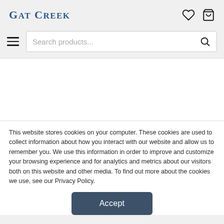Gat Creek
Search products...
[Figure (screenshot): White blank content area placeholder]
This website stores cookies on your computer. These cookies are used to collect information about how you interact with our website and allow us to remember you. We use this information in order to improve and customize your browsing experience and for analytics and metrics about our visitors both on this website and other media. To find out more about the cookies we use, see our Privacy Policy.
Accept